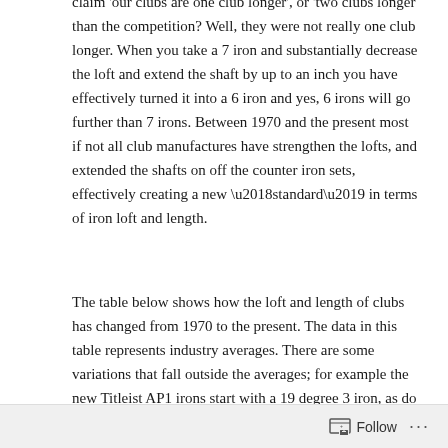claim 'our clubs are one club longer', or 'two clubs longer than the competition? Well, they were not really one club longer. When you take a 7 iron and substantially decrease the loft and extend the shaft by up to an inch you have effectively turned it into a 6 iron and yes, 6 irons will go further than 7 irons. Between 1970 and the present most if not all club manufactures have strengthen the lofts, and extended the shafts on off the counter iron sets, effectively creating a new ‘standard’ in terms of iron loft and length.
The table below shows how the loft and length of clubs has changed from 1970 to the present. The data in this table represents industry averages. There are some variations that fall outside the averages; for example the new Titleist AP1 irons start with a 19 degree 3 iron, as do the new Taylormade PSi irons with more aggressive lofts.
Follow